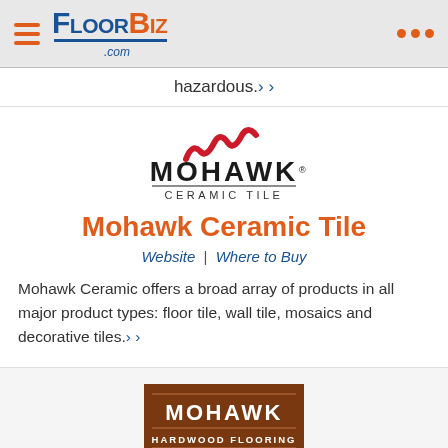FloorBiz.com
hazardous.› ›
[Figure (logo): Mohawk Ceramic Tile logo with red wave symbol above MOHAWK text and CERAMIC TILE subtitle]
Mohawk Ceramic Tile
Website | Where to Buy
Mohawk Ceramic offers a broad array of products in all major product types: floor tile, wall tile, mosaics and decorative tiles.› ›
[Figure (logo): Mohawk Hardwood Flooring logo on brown background]